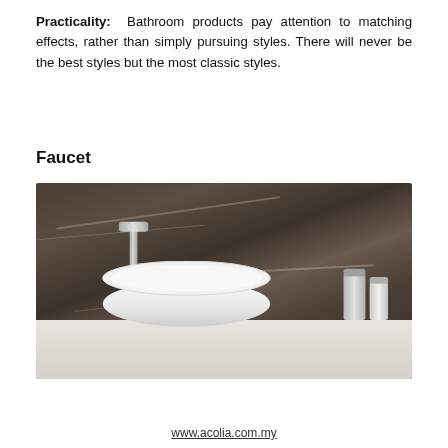Practicality: Bathroom products pay attention to matching effects, rather than simply pursuing styles. There will never be the best styles but the most classic styles.
Faucet
[Figure (photo): Photo of a modern bathroom faucet with a white oval vessel sink on a marble countertop, against a dark brown marble wall background. Two silver/white canisters are placed to the right of the sink.]
www.acolia.com.my